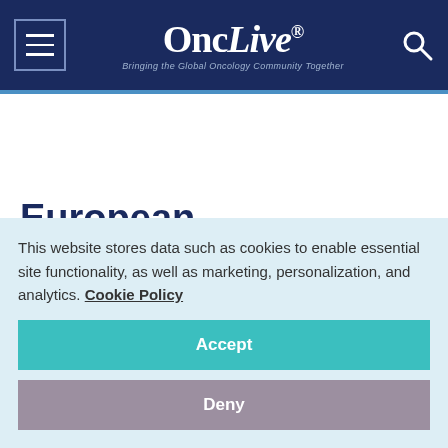OncLive® — Bringing the Global Oncology Community Together
European Commission Grants Conditional Marketing
This website stores data such as cookies to enable essential site functionality, as well as marketing, personalization, and analytics. Cookie Policy
Accept
Deny